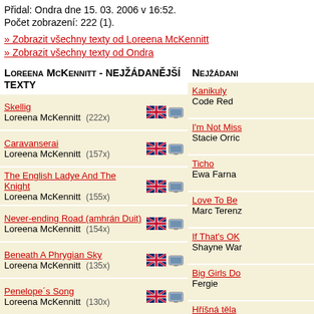Přidal: Ondra dne 15. 03. 2006 v 16:52.
Počet zobrazení: 222 (1).
» Zobrazit všechny texty od Loreena McKennitt
» Zobrazit všechny texty od Ondra
Loreena McKennitt - nejžádanější texty
Nejžádani
Skellig – Loreena McKennitt (222x)
Kanikuly – Code Red
Caravanserai – Loreena McKennitt (157x)
I'm Not Miss – Stacie Orric
The English Ladye And The Knight – Loreena McKennitt (155x)
Ticho – Ewa Farna
Never-ending Road (amhrán Duit) – Loreena McKennitt (154x)
Love To Be – Marc Terenz
Beneath A Phrygian Sky – Loreena McKennitt (135x)
If That's OK – Shayne War
Penelope´s Song – Loreena McKennitt (130x)
Big Girls Do – Fergie
The Gates Of Istanbul-správně
Hříšná těla